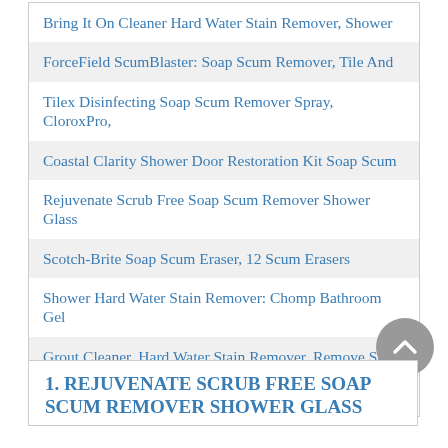Bring It On Cleaner Hard Water Stain Remover, Shower
ForceField ScumBlaster: Soap Scum Remover, Tile And
Tilex Disinfecting Soap Scum Remover Spray, CloroxPro,
Coastal Clarity Shower Door Restoration Kit Soap Scum
Rejuvenate Scrub Free Soap Scum Remover Shower Glass
Scotch-Brite Soap Scum Eraser, 12 Scum Erasers
Shower Hard Water Stain Remover: Chomp Bathroom Gel
Grout Cleaner, Hard Water Stain Remover, Remove Spots
Scotch-Brite Swift Scrub, Bathroom Buildup, Glass Door,
1. REJUVENATE SCRUB FREE SOAP SCUM REMOVER SHOWER GLASS